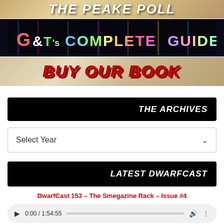[Figure (illustration): Partial banner with stylized text 'THE PEAKE POLL' on a textured golden/brown background]
[Figure (illustration): Dark banner with colorful stylized text reading "G&T's COMPLETE GUIDE" on a dark background with colorful glowing letters]
[Figure (illustration): Banner with bold red italic text 'BUY OUR BOOK' on a weathered/rusty textured background]
THE ARCHIVES
Select Year
LATEST DWARFCAST
DwarfCast 153 – The Smegazine Rack – Issue #4
[Figure (other): Audio player showing 0:00 / 1:54:55 with play button, progress bar, volume and more-options icons]